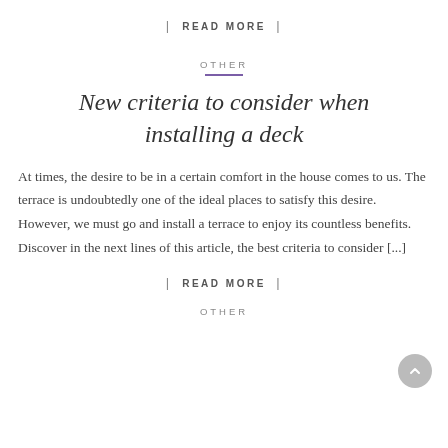| READ MORE |
OTHER
New criteria to consider when installing a deck
At times, the desire to be in a certain comfort in the house comes to us. The terrace is undoubtedly one of the ideal places to satisfy this desire. However, we must go and install a terrace to enjoy its countless benefits. Discover in the next lines of this article, the best criteria to consider [...]
| READ MORE |
OTHER